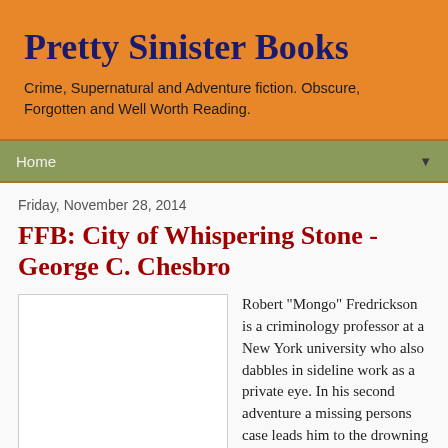Pretty Sinister Books
Crime, Supernatural and Adventure fiction. Obscure, Forgotten and Well Worth Reading.
Home ▼
Friday, November 28, 2014
FFB: City of Whispering Stone - George C. Chesbro
[Figure (other): Book cover placeholder (white rectangle with border)]
Robert "Mongo" Fredrickson is a criminology professor at a New York university who also dabbles in sideline work as a private eye. In his second adventure a missing persons case leads him to the drowning death of